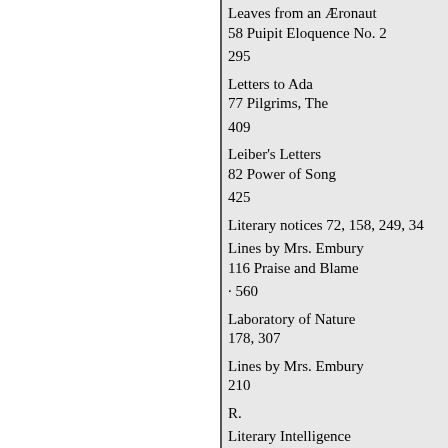Leaves from an Æronaut
58 Puipit Eloquence No. 2
295
Letters to Ada
77 Pilgrims, The
409
Leiber's Letters
82 Power of Song
425
Literary notices 72, 158, 249, 34
Lines by Mrs. Embury
116 Praise and Blame
· 560
Laboratory of Nature
178, 307
Lines by Mrs. Embury
210
R.
Literary Intelligence
362, 470
Lines written on the death of